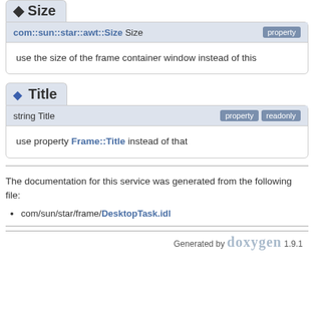◆ Size
com::sun::star::awt::Size Size   property
use the size of the frame container window instead of this
◆ Title
string Title   property  readonly
use property Frame::Title instead of that
The documentation for this service was generated from the following file:
com/sun/star/frame/DesktopTask.idl
Generated by doxygen 1.9.1